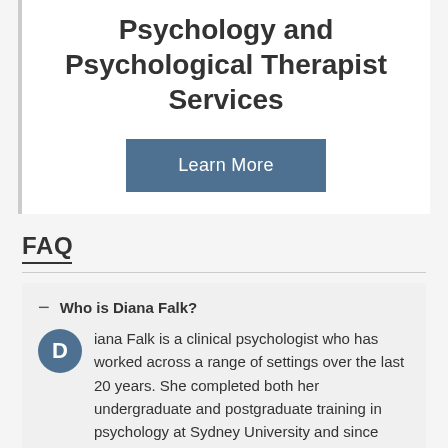Psychology and Psychological Therapist Services
[Figure (other): A blue 'Learn More' button]
FAQ
– Who is Diana Falk?
Diana Falk is a clinical psychologist who has worked across a range of settings over the last 20 years. She completed both her undergraduate and postgraduate training in psychology at Sydney University and since